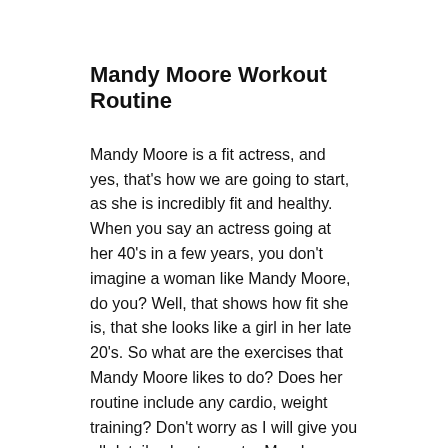Mandy Moore Workout Routine
Mandy Moore is a fit actress, and yes, that's how we are going to start, as she is incredibly fit and healthy. When you say an actress going at her 40's in a few years, you don't imagine a woman like Mandy Moore, do you? Well, that shows how fit she is, that she looks like a girl in her late 20's. So what are the exercises that Mandy Moore likes to do? Does her routine include any cardio, weight training? Don't worry as I will give you all details about our star Mandy Moore.
I found out about Mandy Moore's workout routine in an article from Shape Magazine. You can see Mandy Moore talking about how she went to Jason, her trainer, on recommendation, and from there, she got into strength training. Mandy Moore also stated that she loves cardio but doesn't like running and thinks she will run a marathon.